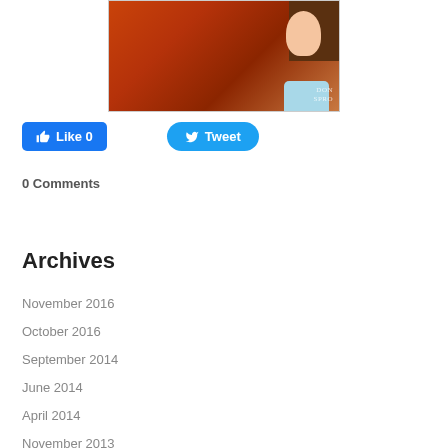[Figure (photo): Photo of a person with long auburn/red hair, seen from behind/side, wearing a light blue shirt. Dark background at top right. Watermark text 'DON SPRO' in bottom right corner.]
[Figure (screenshot): Facebook Like button showing 'Like 0' in blue, and Twitter Tweet button in blue rounded style]
0 Comments
Archives
November 2016
October 2016
September 2014
June 2014
April 2014
November 2013
June 2013